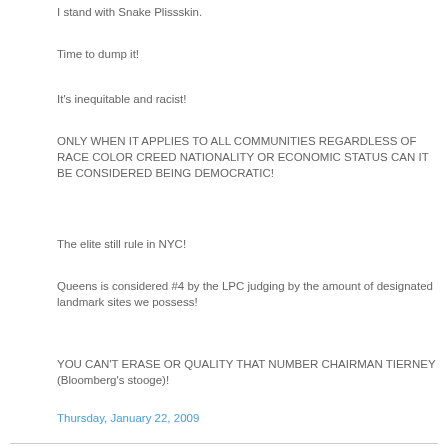I stand with Snake Plissskin.
Time to dump it!
It's inequitable and racist!
ONLY WHEN IT APPLIES TO ALL COMMUNITIES REGARDLESS OF RACE COLOR CREED NATIONALITY OR ECONOMIC STATUS CAN IT BE CONSIDERED BEING DEMOCRATIC!
The elite still rule in NYC!
Queens is considered #4 by the LPC judging by the amount of designated landmark sites we possess!
YOU CAN'T ERASE OR QUALITY THAT NUMBER CHAIRMAN TIERNEY (Bloomberg's stooge)!
Thursday, January 22, 2009